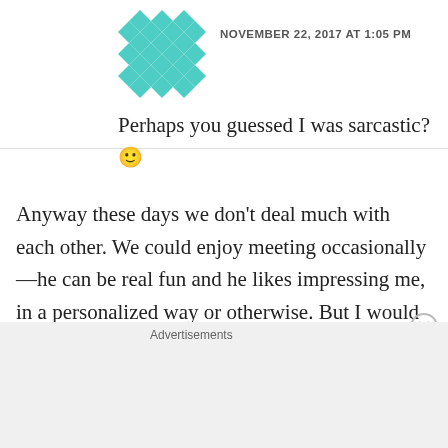[Figure (illustration): Teal/mint colored geometric diamond pattern avatar icon]
NOVEMBER 22, 2017 AT 1:05 PM
Perhaps you guessed I was sarcastic? 🙂
Anyway these days we don't deal much with each other. We could enjoy meeting occasionally—he can be real fun and he likes impressing me, in a personalized way or otherwise. But I would not go into any long term interaction with him.
Advertisements